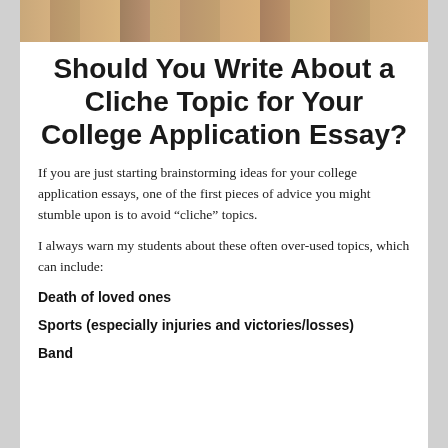[Figure (photo): Top portion of a photo showing a person outdoors, warm tones visible at top of page]
Should You Write About a Cliche Topic for Your College Application Essay?
If you are just starting brainstorming ideas for your college application essays, one of the first pieces of advice you might stumble upon is to avoid “cliche” topics.
I always warn my students about these often over-used topics, which can include:
Death of loved ones
Sports (especially injuries and victories/losses)
Band